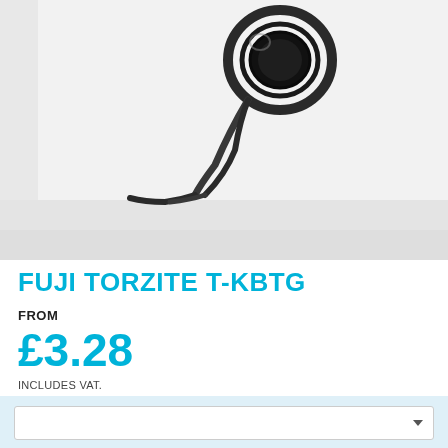[Figure (photo): Product photo of a Fuji Torzite T-KBTG fishing rod guide/ring component on a white/light grey background. The metallic guide with a circular ring shape is visible against the light background.]
FUJI TORZITE T-KBTG
FROM
£3.28
INCLUDES VAT.